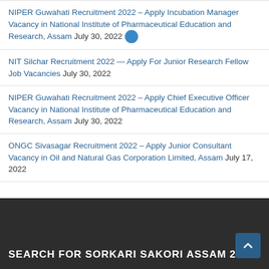NIPER Guwahati Recruitment 2022 – Apply Incubation Manager Vacancy in National Institute of Pharmaceutical Education and Research, Assam July 30, 2022
NIT Silchar Recruitment 2022 — Apply For Junior Research Fellow Job Vacancies July 30, 2022
NIPER Guwahati Recruitment 2022 – Apply Chief Executive Officer Vacancy in National Institute of Pharmaceutical Education and Research, Assam July 30, 2022
ONGC Sivasagar Recruitment 2022 – Apply Junior Consultant Vacancy in Oil and Natural Gas Corporation Limited, Assam July 17, 2022
SEARCH FOR SORKARI SAKORI ASSAM 2022